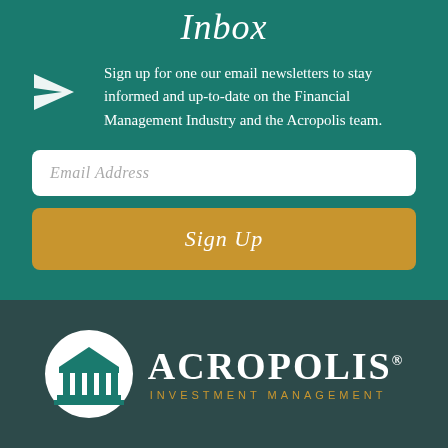Inbox
Sign up for one our email newsletters to stay informed and up-to-date on the Financial Management Industry and the Acropolis team.
Email Address
Sign Up
[Figure (logo): Acropolis Investment Management logo: white circle with a classical columns/temple icon, beside the text ACROPOLIS in large serif white letters with registered trademark symbol, and INVESTMENT MANAGEMENT in gold spaced capitals below]